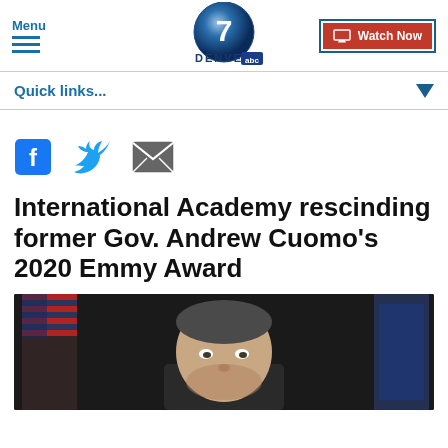Menu | Denver7 ABC | Watch Now
Quick links...
[Figure (screenshot): Social share icons: Facebook, Twitter, Email]
International Academy rescinding former Gov. Andrew Cuomo's 2020 Emmy Award
[Figure (photo): Photo of former Governor Andrew Cuomo at a podium with flags in the background]